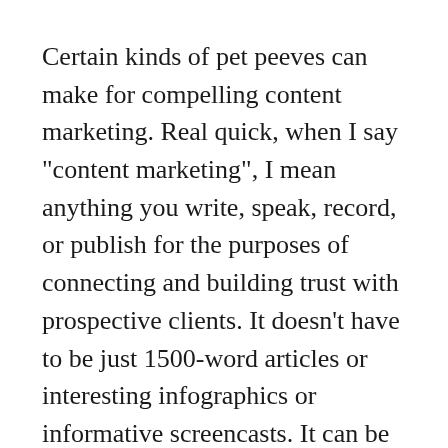Certain kinds of pet peeves can make for compelling content marketing. Real quick, when I say "content marketing", I mean anything you write, speak, record, or publish for the purposes of connecting and building trust with prospective clients. It doesn't have to be just 1500-word articles or interesting infographics or informative screencasts. It can be any/all of those or more than just those things.

Anyway, who cares about your pet